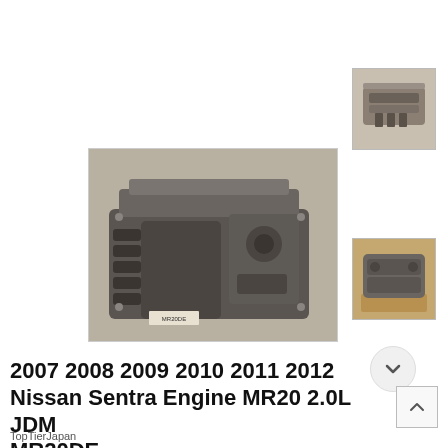[Figure (photo): Thumbnail photo of JDM MR20DE engine, top view, on grey background]
[Figure (photo): Main large photo of JDM MR20 2.0L engine showing intake manifold and engine block on a grey floor]
[Figure (photo): Thumbnail photo of JDM MR20DE engine, side view, on orange rack background]
2007 2008 2009 2010 2011 2012 Nissan Sentra Engine MR20 2.0L JDM MR20DE
TopTierJapan